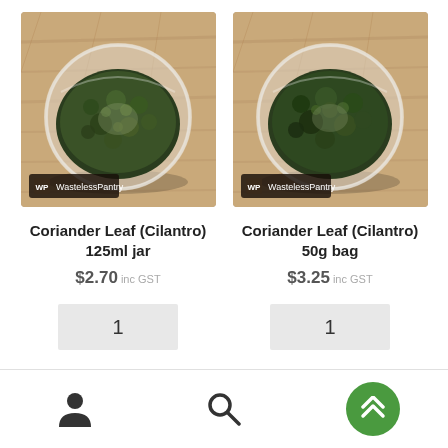[Figure (photo): Glass bowl filled with dried coriander leaf (cilantro) on a wooden board, with WastelessPantry logo in the bottom left corner]
Coriander Leaf (Cilantro)
125ml jar
$2.70 inc GST
1
[Figure (photo): Glass bowl filled with dried coriander leaf (cilantro) on a wooden board, with WastelessPantry logo in the bottom left corner]
Coriander Leaf (Cilantro)
50g bag
$3.25 inc GST
1
User icon | Search icon | Scroll to top button